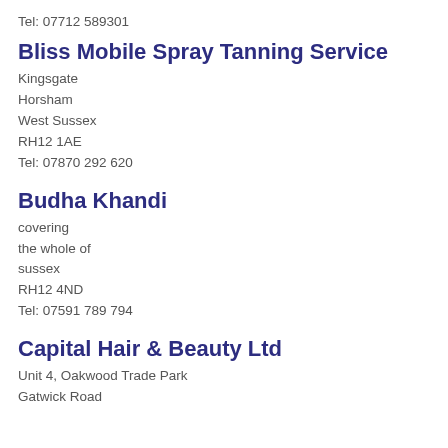Tel: 07712 589301
Bliss Mobile Spray Tanning Service
Kingsgate
Horsham
West Sussex
RH12 1AE
Tel: 07870 292 620
Budha Khandi
covering
the whole of
sussex
RH12 4ND
Tel: 07591 789 794
Capital Hair & Beauty Ltd
Unit 4, Oakwood Trade Park
Gatwick Road